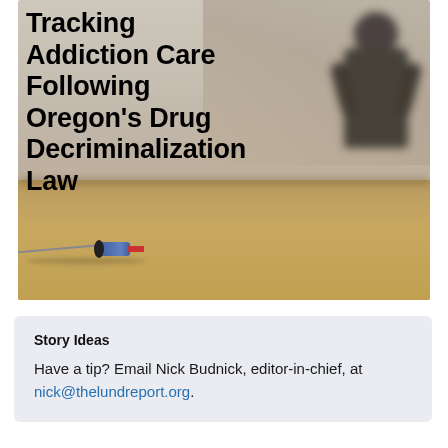Tracking Addiction Care Following Oregon's Drug Decriminalization Law
[Figure (photo): A syringe lying on a sandy/wooden floor in the foreground, blurred person standing in the background against a light-colored wall.]
Story Ideas
Have a tip? Email Nick Budnick, editor-in-chief, at nick@thelundreport.org.